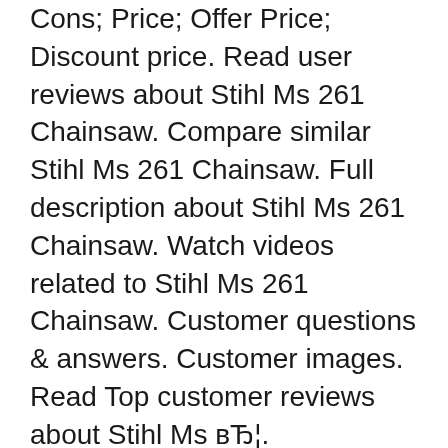Cons; Price; Offer Price; Discount price. Read user reviews about Stihl Ms 261 Chainsaw. Compare similar Stihl Ms 261 Chainsaw. Full description about Stihl Ms 261 Chainsaw. Watch videos related to Stihl Ms 261 Chainsaw. Customer questions & answers. Customer images. Read Top customer reviews about Stihl Ms вЂ¦.
18/12/2012В В· as an owner of the new model ms461 ,am curious how other new owners are likeing this model ,it seems like more people are getting these now ,post your likes and dislikes ,only dislike i have so far is the filter collects sawdust fairly quick ,i ordered outerwear covers so that should be